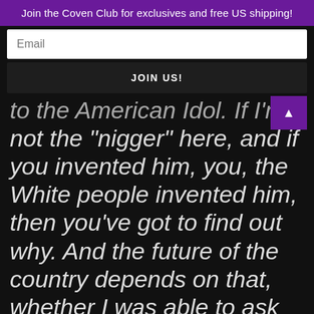Join the Coven Club for exclusives and free US shipping!
Email
JOIN US!
to the American Idol. If I'm not the “nigger” here, and if you invented him, you, the White people invented him, then you’ve got to find out why. And the future of the country depends on that, whether I was able to ask